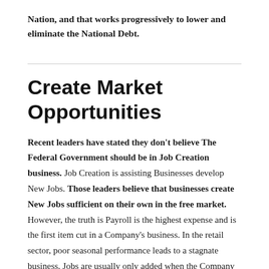Nation, and that works progressively to lower and eliminate the National Debt.
Create Market Opportunities
Recent leaders have stated they don't believe The Federal Government should be in Job Creation business. Job Creation is assisting Businesses develop New Jobs. Those leaders believe that businesses create New Jobs sufficient on their own in the free market. However, the truth is Payroll is the highest expense and is the first item cut in a Company's business. In the retail sector, poor seasonal performance leads to a stagnate business. Jobs are usually only added when the Company is confident of their growth and wish to expand the business in a different venture